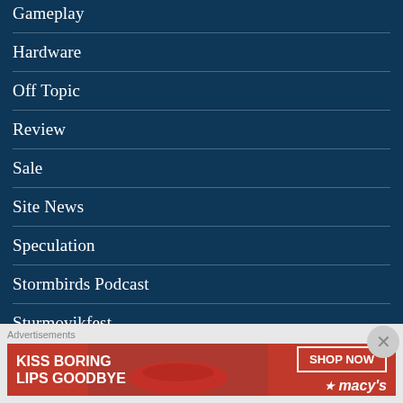Gameplay
Hardware
Off Topic
Review
Sale
Site News
Speculation
Stormbirds Podcast
Sturmovikfest
Uncategorized
Advertisements
[Figure (photo): Macy's lip product advertisement banner: 'KISS BORING LIPS GOODBYE' with SHOP NOW button and Macy's star logo]